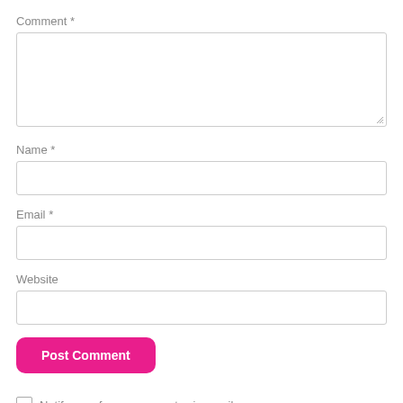Comment *
[Figure (other): Large text area input box for comment field]
Name *
[Figure (other): Single-line text input for name field]
Email *
[Figure (other): Single-line text input for email field]
Website
[Figure (other): Single-line text input for website field]
[Figure (other): Post Comment button in pink/magenta color with rounded corners]
Notify me of new comments via email.